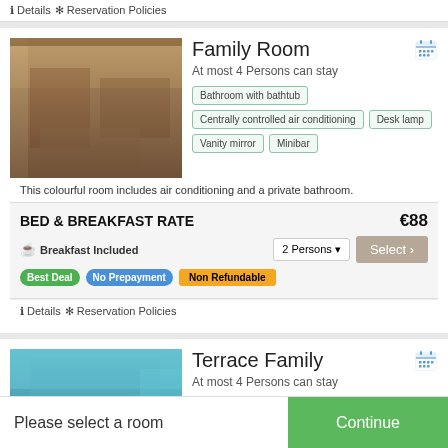Details  Reservation Policies
Family Room
At most 4 Persons can stay
Bathroom with bathtub
Centrally controlled air conditioning
Desk lamp
Vanity mirror
Minibar
This colourful room includes air conditioning and a private bathroom.
BED & BREAKFAST RATE
€88
Breakfast Included
2 Persons
Best Deal
No Prepayment
Non Refundable
Details  Reservation Policies
Terrace Family
At most 4 Persons can stay
Bathroom with shower
Please select a room
Continue